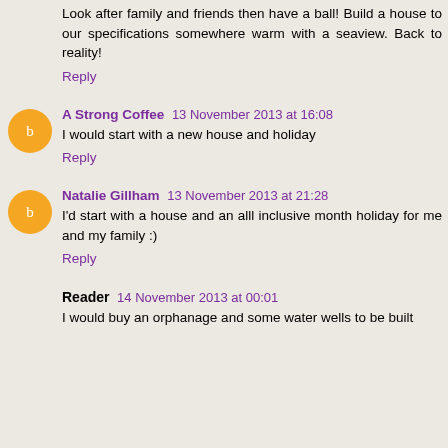Almonds 13 November 2013 at 14:58
Look after family and friends then have a ball! Build a house to our specifications somewhere warm with a seaview. Back to reality!
Reply
A Strong Coffee 13 November 2013 at 16:08
I would start with a new house and holiday
Reply
Natalie Gillham 13 November 2013 at 21:28
I'd start with a house and an alll inclusive month holiday for me and my family :)
Reply
Reader 14 November 2013 at 00:01
I would buy an orphanage and some water wells to be built